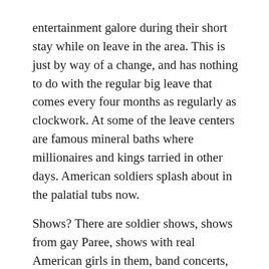entertainment galore during their short stay while on leave in the area. This is just by way of a change, and has nothing to do with the regular big leave that comes every four months as regularly as clockwork. At some of the leave centers are famous mineral baths where millionaires and kings tarried in other days. American soldiers splash about in the palatial tubs now.

Shows? There are soldier shows, shows from gay Paree, shows with real American girls in them, band concerts, musical comedies organized by soldiers with “a carload of special scenery,”